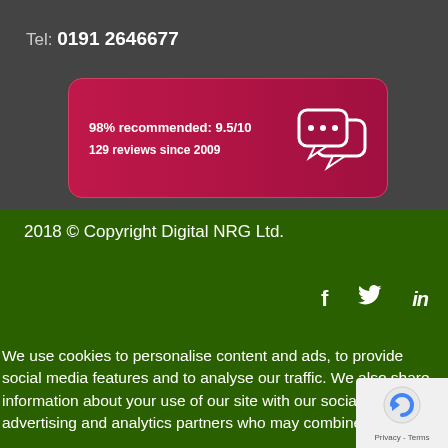Tel: 0191 2646677
[Figure (infographic): Red rounded badge showing '98% recommended: 9.5/10' and '129 reviews since 2009' with speech bubble icons]
2018 © Copyright Digital NRG Ltd.
[Figure (infographic): Social media icons: Facebook (f), Twitter (bird), LinkedIn (in)]
We use cookies to personalise content and ads, to provide social media features and to analyse our traffic. We also share information about your use of our site with our social media, advertising and analytics partners who may combine it with other information that you've provided to them or that they've
[Figure (logo): reCAPTCHA / Privacy Terms badge in bottom right corner]